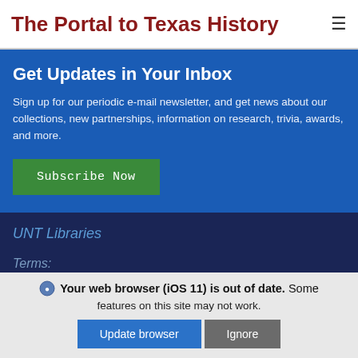The Portal to Texas History
Get Updates in Your Inbox
Sign up for our periodic e-mail newsletter, and get news about our collections, new partnerships, information on research, trivia, awards, and more.
Subscribe Now
UNT Libraries
Terms:
The Portal to...
Your web browser (iOS 11) is out of date. Some features on this site may not work.
Update browser | Ignore